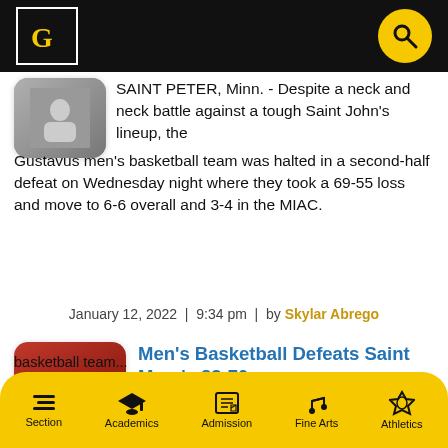Gustavus Adolphus College navigation header with logo and search button
[Figure (photo): Thumbnail of a basketball player, partially visible]
SAINT PETER, Minn. - Despite a neck and neck battle against a tough Saint John's lineup, the Gustavus men's basketball team was halted in a second-half defeat on Wednesday night where they took a 69-55 loss and move to 6-6 overall and 3-4 in the MIAC.
January 12, 2022  |  9:34 pm  |  by Skylar Abrego
[Figure (photo): Photo of a Gustavus men's basketball player dribbling on a red court]
Men's Basketball Defeats Saint Mary's 83-70
WINONA, Minn. - The Gustavus men's basketball team...
Section | Academics | Admission | Fine Arts | Athletics